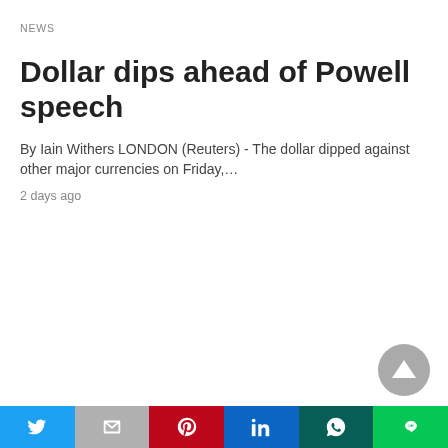NEWS
Dollar dips ahead of Powell speech
By Iain Withers LONDON (Reuters) - The dollar dipped against other major currencies on Friday,…
2 days ago